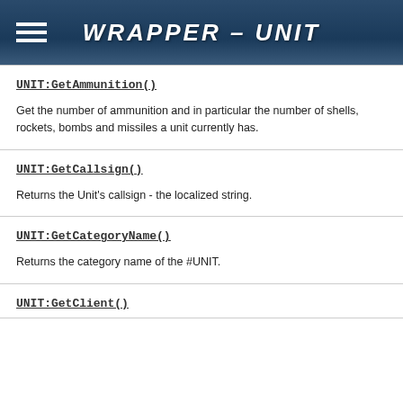WRAPPER - UNIT
UNIT:GetAmmunition()
Get the number of ammunition and in particular the number of shells, rockets, bombs and missiles a unit currently has.
UNIT:GetCallsign()
Returns the Unit's callsign - the localized string.
UNIT:GetCategoryName()
Returns the category name of the #UNIT.
UNIT:GetClient()